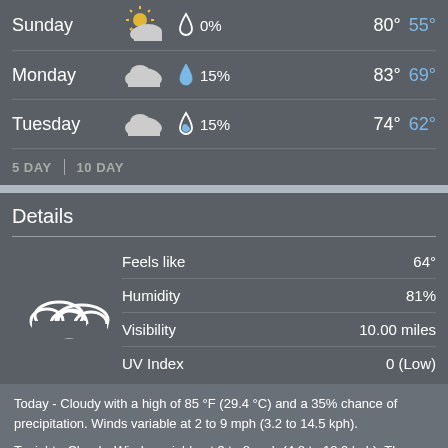| Day | Condition | Precip | High | Low |
| --- | --- | --- | --- | --- |
| Sunday | Partly Cloudy | 0% | 80° | 55° |
| Monday | Cloudy | 15% | 83° | 69° |
| Tuesday | Cloudy | 15% | 74° | 62° |
5 DAY | 10 DAY
Details
| Detail | Value |
| --- | --- |
| Feels like | 64° |
| Humidity | 81% |
| Visibility | 10.00 miles |
| UV Index | 0 (Low) |
Today - Cloudy with a high of 85 °F (29.4 °C) and a 35% chance of precipitation. Winds variable at 2 to 9 mph (3.2 to 14.5 kph).
Tonight - Cloudy. Winds variable at 3 to 8 mph (4.8 to 12.9 kph). The overnight low will be 66 °F (18.9 °C).